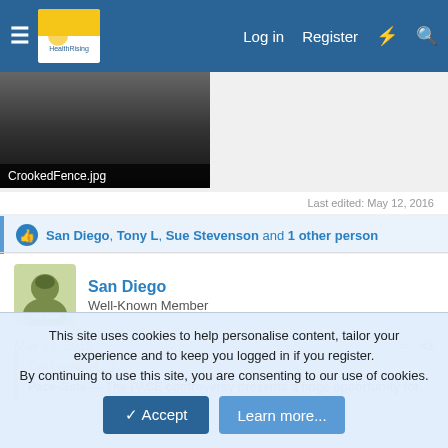Log in  Register
[Figure (photo): Dark grayscale photo labeled CrookedFence.jpg]
Last edited: May 12, 2016
San Diego, Tony L, Sue Stevenson and 1 other person
San Diego
Well-Known Member
May 13, 2016  #2
Cort said:
Pace-Gate — The PACE controversy presents a huge opportunity for
This site uses cookies to help personalise content, tailor your experience and to keep you logged in if you register.
By continuing to use this site, you are consenting to our use of cookies.
Accept  Learn more...